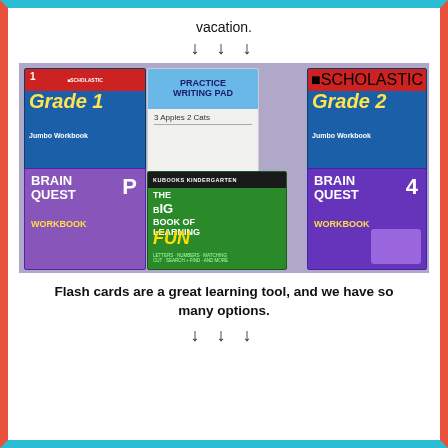vacation.
↓ ↓ ↓
[Figure (photo): Photo of educational workbooks and activity books: Scholastic Grade 1 Jumbo Workbook, Practice Writing Pad (3 Apples 2 Cats), Scholastic Grade 2 Jumbo Workbook, Brain Quest Workbook PreK (P), Kubooks Kindergarten The Big Book of Learning Fun, and Brain Quest Workbook Grade 4, arranged on a purple glitter background.]
Flash cards are a great learning tool, and we have so many options.
↓ ↓ ↓